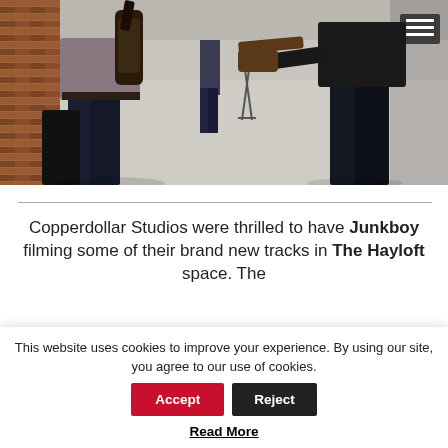[Figure (photo): Two musicians holding guitars in a studio space with brick wall on the left, concrete floor, and another person visible in the background near a guitar stand.]
Copperdollar Studios were thrilled to have Junkboy filming some of their brand new tracks in The Hayloft space. The
This website uses cookies to improve your experience. By using our site, you agree to our use of cookies.
Read More